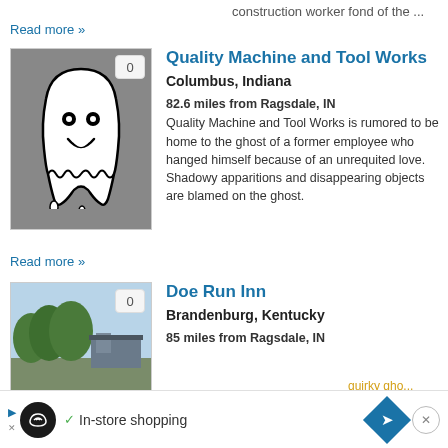construction worker fond of the ...
Read more »
[Figure (illustration): Ghost illustration on grey background with badge showing 0]
Quality Machine and Tool Works
Columbus, Indiana
82.6 miles from Ragsdale, IN
Quality Machine and Tool Works is rumored to be home to the ghost of a former employee who hanged himself because of an unrequited love. Shadowy apparitions and disappearing objects are blamed on the ghost.
Read more »
[Figure (photo): Landscape photo of trees and building - Doe Run Inn]
Doe Run Inn
Brandenburg, Kentucky
85 miles from Ragsdale, IN
In-store shopping
quirky ghost ... day and ... him? He